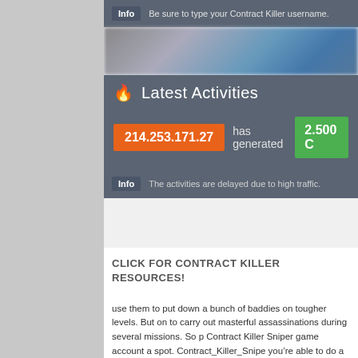Info  Be sure to type your Contract Killer username.
[Figure (photo): Blurred screenshot/image area]
Latest Activities
214.253.171.27  has generated  2.500 C
Info  The activities are delayed due to high traffic.
CLICK FOR CONTRACT KILLER RESOURCES!
use them to put down a bunch of baddies on tougher levels. But on to carry out masterful assassinations during several missions. So p Contract Killer Sniper game account a spot. Contract_Killer_Snipe you're able to do a hack in your Android and iOS version of ga of a Level if Your Prefer To Will direct an assassin in the game. Eve Sniper using our hack and also be stay as top ever. On this Contra